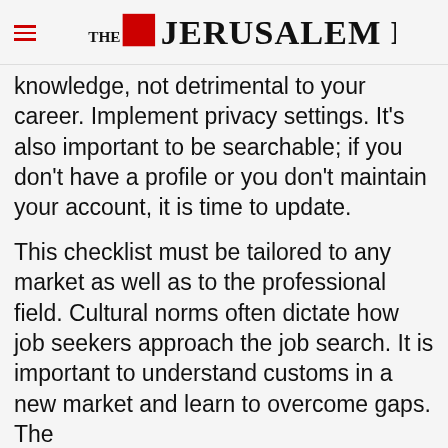THE JERUSALEM POST
knowledge, not detrimental to your career. Implement privacy settings. It's also important to be searchable; if you don't have a profile or you don't maintain your account, it is time to update.
This checklist must be tailored to any market as well as to the professional field. Cultural norms often dictate how job seekers approach the job search. It is important to understand customs in a new market and learn to overcome gaps. The
Advertisement